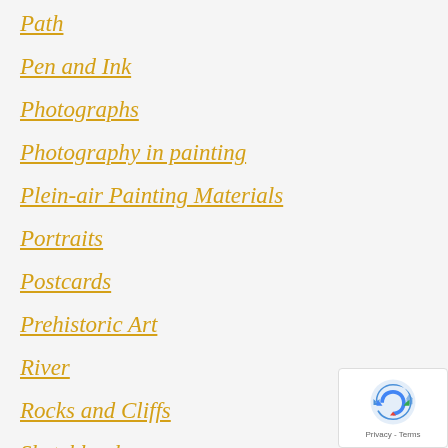Path
Pen and Ink
Photographs
Photography in painting
Plein-air Painting Materials
Portraits
Postcards
Prehistoric Art
River
Rocks and Cliffs
Sketchbook
Skies & Clouds
Slideshow
[Figure (other): Google reCAPTCHA privacy badge with recaptcha logo and Privacy - Terms text]